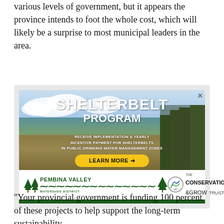various levels of government, but it appears the province intends to foot the whole cost, which will likely be a surprise to most municipal leaders in the area.
[Figure (other): Advertisement for Shelterbelt Program by Pembina Valley Watershed District and The Conservation & Grow Trusts. Shows a field/landscape photo with text: SHELTERBELT PROGRAM - RECEIVE IMPLEMENTATION & YEARLY INCENTIVE PAYMENT FOR SHELTERBELTS IN PUBLIC DRINKING WATER MANAGEMENT ZONES - LEARN MORE button.]
"Your provincial government is funding 100 percent of these projects to help support the long-term sustainability